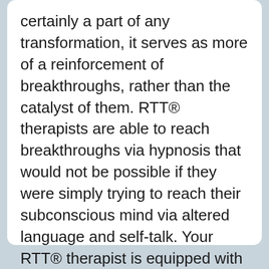certainly a part of any transformation, it serves as more of a reinforcement of breakthroughs, rather than the catalyst of them. RTT® therapists are able to reach breakthroughs via hypnosis that would not be possible if they were simply trying to reach their subconscious mind via altered language and self-talk. Your RTT® therapist is equipped with an array of techniques and tools that are crucial, not just in teaching you how to communicate with your subconscious mind, but also directly accessing and fixing whatever blockages may be there.